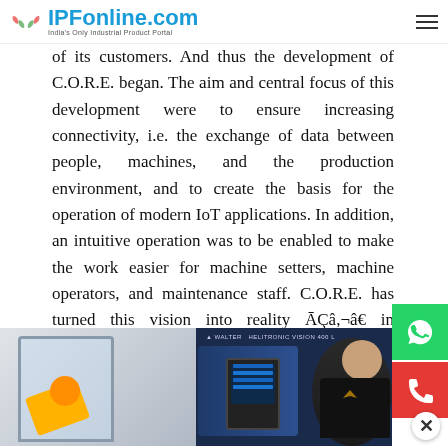IPFonline.com — India's Only Industrial Product Portal
of its customers. And thus the development of C.O.R.E. began. The aim and central focus of this development were to ensure increasing connectivity, i.e. the exchange of data between people, machines, and the production environment, and to create the basis for the operation of modern IoT applications. In addition, an intuitive operation was to be enabled to make the work easier for machine setters, machine operators, and maintenance staff. C.O.R.E. has turned this vision into reality ĀÇâ,¬â€ in revolutionary way.
[Figure (photo): Two-panel image: left panel shows a CNC machine with a yellow robotic arm inside a white enclosure; right panel shows a Walter Helitronic Vision 400 L machine with a control panel tablet and a muscular man in a black shirt standing beside it.]